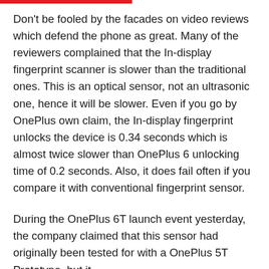Don't be fooled by the facades on video reviews which defend the phone as great. Many of the reviewers complained that the In-display fingerprint scanner is slower than the traditional ones. This is an optical sensor, not an ultrasonic one, hence it will be slower. Even if you go by OnePlus own claim, the In-display fingerprint unlocks the device is 0.34 seconds which is almost twice slower than OnePlus 6 unlocking time of 0.2 seconds. Also, it does fail often if you compare it with conventional fingerprint sensor.
During the OnePlus 6T launch event yesterday, the company claimed that this sensor had originally been tested for with a OnePlus 5T Prototype, but it